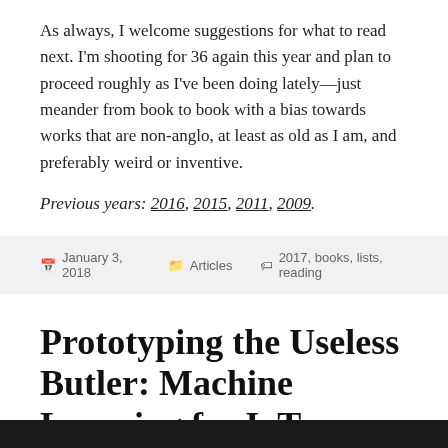As always, I welcome suggestions for what to read next. I'm shooting for 36 again this year and plan to proceed roughly as I've been doing lately—just meander from book to book with a bias towards works that are non-anglo, at least as old as I am, and preferably weird or inventive.
Previous years: 2016, 2015, 2011, 2009.
January 3, 2018   Articles   2017, books, lists, reading
Prototyping the Useless Butler: Machine Learning for IoT Designers